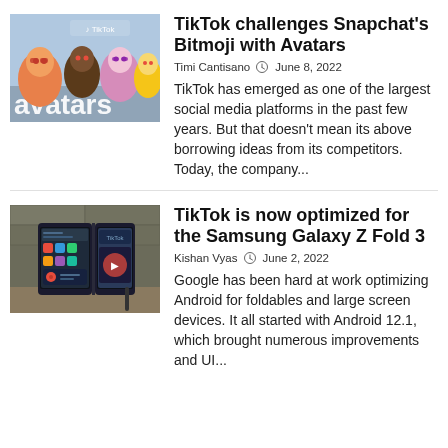[Figure (photo): TikTok avatars promotional image with colorful animated characters and 'avatars' text]
TikTok challenges Snapchat's Bitmoji with Avatars
Timi Cantisano  June 8, 2022
TikTok has emerged as one of the largest social media platforms in the past few years. But that doesn't mean its above borrowing ideas from its competitors. Today, the company...
[Figure (photo): Samsung Galaxy Z Fold 3 phone shown open in landscape mode on a wooden surface]
TikTok is now optimized for the Samsung Galaxy Z Fold 3
Kishan Vyas  June 2, 2022
Google has been hard at work optimizing Android for foldables and large screen devices. It all started with Android 12.1, which brought numerous improvements and UI...